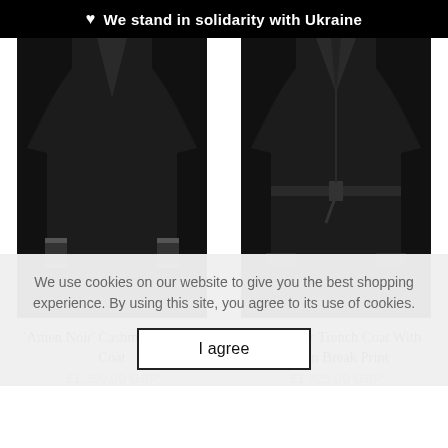♥ We stand in solidarity with Ukraine
[Figure (photo): Black cashmere trench coat with leather cuff trim on female model, cropped view showing torso and skirt portion]
[Figure (photo): Black leather trench coat with belt and 'V' print on female model, cropped view showing torso and skirt portion]
'Amen Noir' Cashmere Trench Coat
£1,350.00 GBP
'V' Leather Trench Coat With Amen Break Print
£1,825.00 GBP
We use cookies on our website to give you the best shopping experience. By using this site, you agree to its use of cookies.
I agree